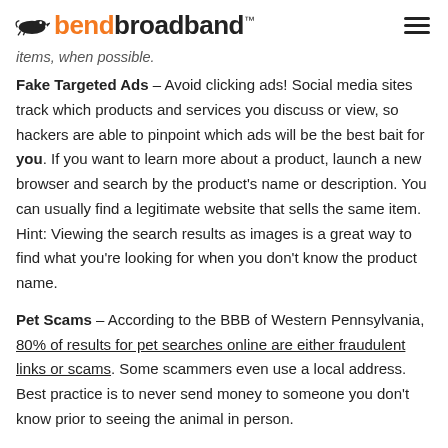bendbroadband
items, when possible.
Fake Targeted Ads – Avoid clicking ads! Social media sites track which products and services you discuss or view, so hackers are able to pinpoint which ads will be the best bait for you. If you want to learn more about a product, launch a new browser and search by the product's name or description. You can usually find a legitimate website that sells the same item. Hint: Viewing the search results as images is a great way to find what you're looking for when you don't know the product name.
Pet Scams – According to the BBB of Western Pennsylvania, 80% of results for pet searches online are either fraudulent links or scams. Some scammers even use a local address. Best practice is to never send money to someone you don't know prior to seeing the animal in person.